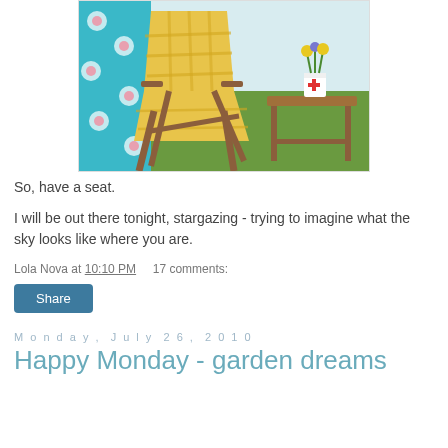[Figure (photo): A wooden folding lawn chair with yellow plaid fabric, set on grass. Behind it is a blue floral fabric/blanket. To the right is a small wooden side table with a mug holding yellow flowers.]
So, have a seat.
I will be out there tonight, stargazing - trying to imagine what the sky looks like where you are.
Lola Nova at 10:10 PM    17 comments:
Share
Monday, July 26, 2010
Happy Monday - garden dreams